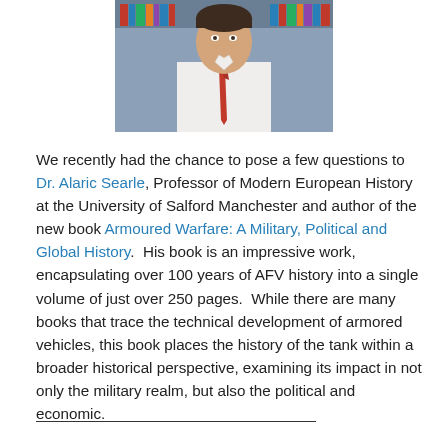[Figure (photo): Photo of Dr. Alaric Searle, a man in a white shirt and red tie, visible from the torso up, with bookshelves in the background.]
We recently had the chance to pose a few questions to Dr. Alaric Searle, Professor of Modern European History at the University of Salford Manchester and author of the new book Armoured Warfare: A Military, Political and Global History.  His book is an impressive work, encapsulating over 100 years of AFV history into a single volume of just over 250 pages.  While there are many books that trace the technical development of armored vehicles, this book places the history of the tank within a broader historical perspective, examining its impact in not only the military realm, but also the political and economic.